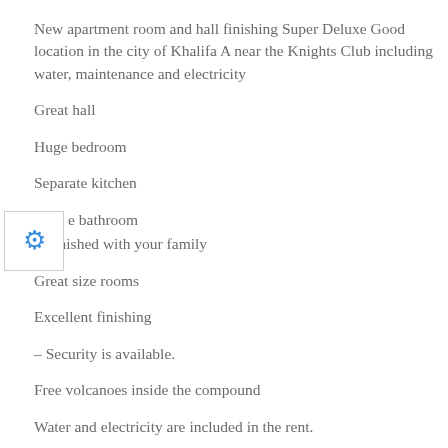New apartment room and hall finishing Super Deluxe Good location in the city of Khalifa A near the Knights Club including water, maintenance and electricity
Great hall
Huge bedroom
Separate kitchen
e bathroom
– Finished with your family
Great size rooms
Excellent finishing
– Security is available.
Free volcanoes inside the compound
Water and electricity are included in the rent.